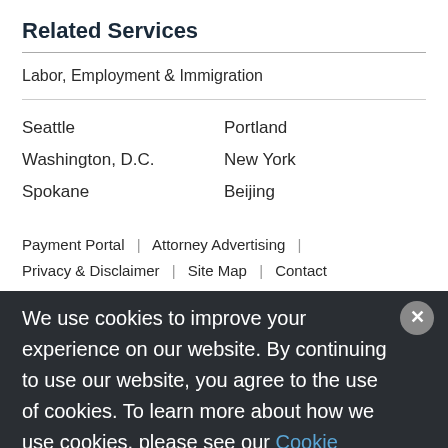Related Services
Labor, Employment & Immigration
Seattle
Portland
Washington, D.C.
New York
Spokane
Beijing
Payment Portal | Attorney Advertising | Privacy & Disclaimer | Site Map | Contact
© 2022 Foster Garvey PC. All Rights Reserved. Site by Firmseek
We use cookies to improve your experience on our website. By continuing to use our website, you agree to the use of cookies. To learn more about how we use cookies, please see our Cookie Policy.